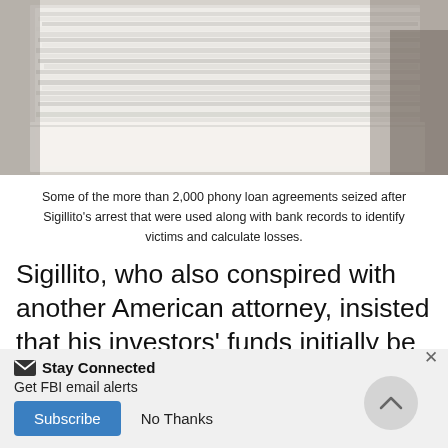[Figure (photo): Stacked pile of white paper documents — more than 2,000 phony loan agreements seized after Sigillito's arrest.]
Some of the more than 2,000 phony loan agreements seized after Sigillito's arrest that were used along with bank records to identify victims and calculate losses.
Sigillito, who also conspired with another American attorney, insisted that his investors' funds initially be placed into his trust account, from which he would take exorbitant fees for himself and his co-conspirators. Even though he told investors he would then transmit the money to the U.K., Sigillito actually kept most of the funds in one or more
Stay Connected
Get FBI email alerts
Subscribe   No Thanks